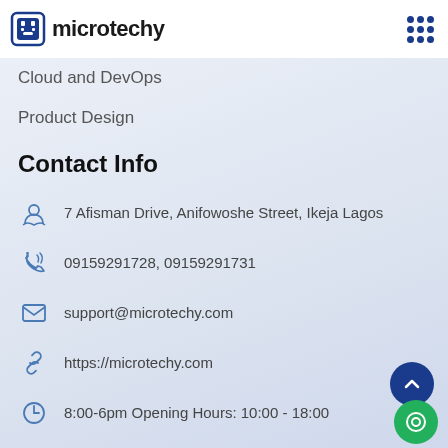microtechy
Cloud and DevOps
Product Design
Contact Info
7 Afisman Drive, Anifowoshe Street, Ikeja Lagos
09159291728, 09159291731
support@microtechy.com
https://microtechy.com
8:00-6pm Opening Hours: 10:00 - 18:00